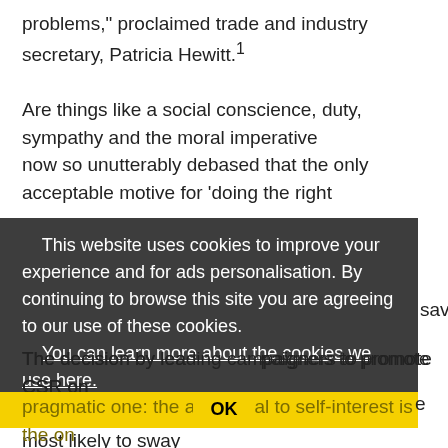problems," proclaimed trade and industry secretary, Patricia Hewitt.1
Are things like a social conscience, duty, sympathy and the moral imperative now so unutterably debased that the only acceptable motive for 'doing the right thing' is to make money?
They sound like the passer-by who would only save some... they arguable.
[Figure (screenshot): Cookie consent banner overlay with dark grey background. Text reads: 'This website uses cookies to improve your experience and for ads personalisation. By continuing to browse this site you are agreeing to our use of these cookies. You can learn more about the cookies we use here.' with a yellow OK button.]
The decision by leading campaigners to promote CSR on business grounds is a
pragmatic one: the appeal to self-interest is the one most likely to sway